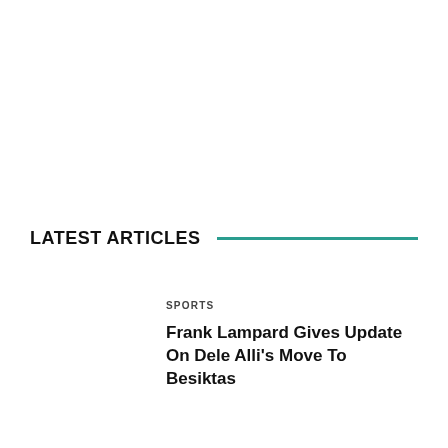LATEST ARTICLES
SPORTS
Frank Lampard Gives Update On Dele Alli's Move To Besiktas